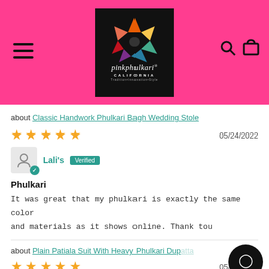[Figure (logo): PinkPhulkari California logo on black background with colorful geometric flower design]
about Classic Handwork Phulkari Bagh Wedding Stole
★★★★★ 05/24/2022
Lali's Verified
Phulkari
It was great that my phulkari is exactly the same color and materials as it shows online. Thank tou
about Plain Patiala Suit With Heavy Phulkari Dupatta
★★★★★ 05/02/2022